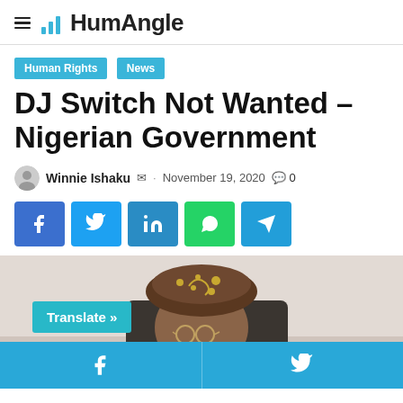HumAngle
Human Rights
News
DJ Switch Not Wanted – Nigerian Government
Winnie Ishaku · November 19, 2020  0
[Figure (screenshot): Social share buttons: Facebook, Twitter, LinkedIn, WhatsApp, Telegram]
[Figure (photo): Photo of a man wearing a decorative brown cap and glasses, seated in an office chair, partially visible. A 'Translate »' button overlays the bottom-left of the image.]